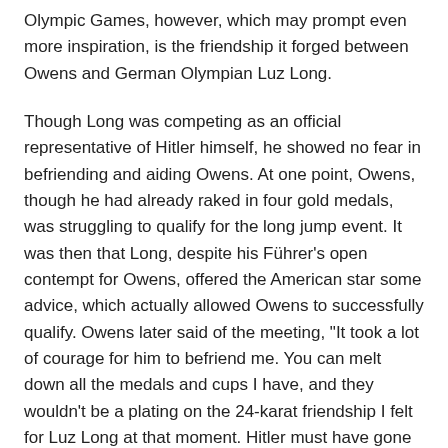Olympic Games, however, which may prompt even more inspiration, is the friendship it forged between Owens and German Olympian Luz Long.
Though Long was competing as an official representative of Hitler himself, he showed no fear in befriending and aiding Owens. At one point, Owens, though he had already raked in four gold medals, was struggling to qualify for the long jump event. It was then that Long, despite his Führer's open contempt for Owens, offered the American star some advice, which actually allowed Owens to successfully qualify. Owens later said of the meeting, "It took a lot of courage for him to befriend me. You can melt down all the medals and cups I have, and they wouldn't be a plating on the 24-karat friendship I felt for Luz Long at that moment. Hitler must have gone crazy watching us embrace."
The two remained friends until Long's death in 1943 when he even penned one of his final letters to Owens.